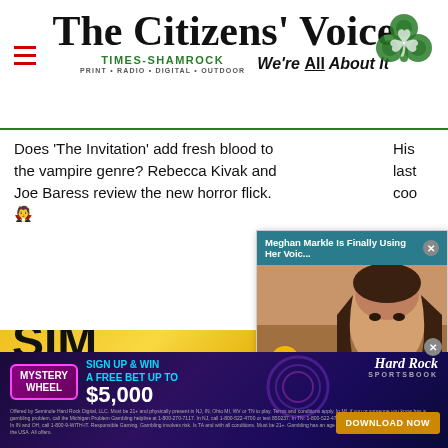The Citizens' Voice
[Figure (logo): Times-Shamrock logo with shamrock icon and 'We're All About It' tagline]
Does 'The Invitation' add fresh blood to the vampire genre? Rebecca Kivak and Joe Baress review the new horror flick.
[Figure (screenshot): Video popup overlay: 'Meghan Markle Is Finally Using Her Voic...' with close button, showing a woman's face and mute button]
[Figure (infographic): Advertisement: Mystery Wheel - Sign Up & Win A Free Bet Up To $5,000 - Hard Rock Sportsbook - Download Now. Fine print legal text at bottom.]